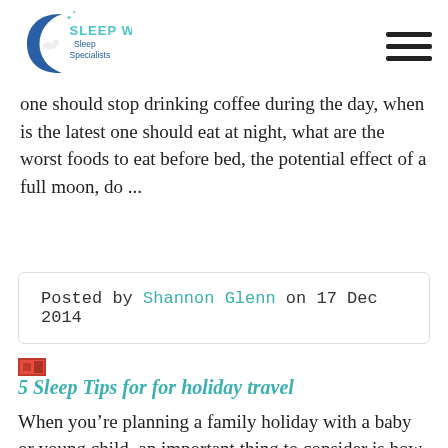[Figure (logo): Sleep Well Sleep Specialists logo with crescent moon and bird graphic, teal and blue colors]
one should stop drinking coffee during the day, when is the latest one should eat at night, what are the worst foods to eat before bed, the potential effect of a full moon, do ...
Posted by Shannon Glenn  on 17 Dec 2014
[Figure (photo): Small thumbnail image, red/orange tones]
5 Sleep Tips for for holiday travel
When you’re planning a family holiday with a baby or young child, an important thing to consider is how your travel plans are going to affect your child’s sleep routine. You’ll have a much more